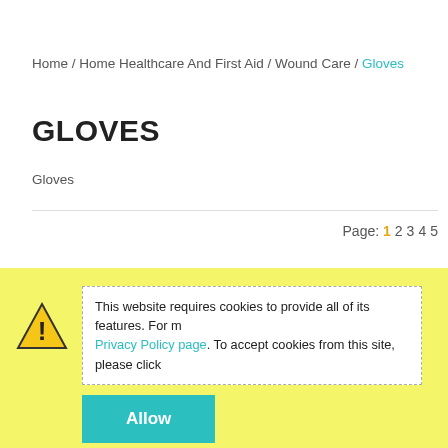Home / Home Healthcare And First Aid / Wound Care / Gloves
GLOVES
Gloves
Page: 1 2 3 4 5
This website requires cookies to provide all of its features. For m Privacy Policy page. To accept cookies from this site, please click
Allow